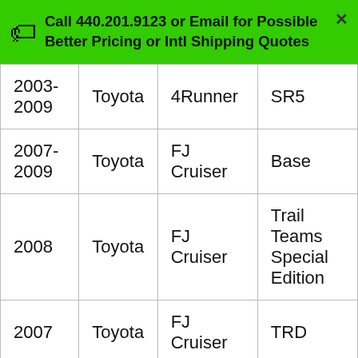Call 440.201.9123 or Email for Possible Better Pricing or Intl Shipping Quotes
| 2003-2009 | Toyota | 4Runner | SR5 |
| 2007-2009 | Toyota | FJ Cruiser | Base |
| 2008 | Toyota | FJ Cruiser | Trail Teams Special Edition |
| 2007 | Toyota | FJ Cruiser | TRD |